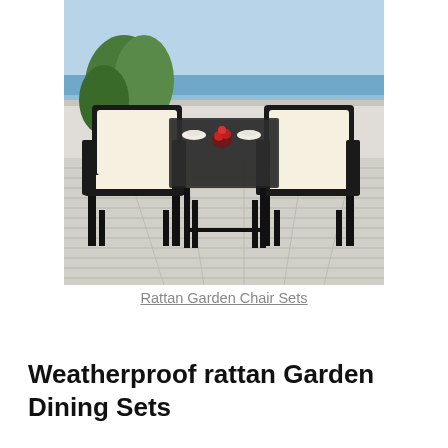[Figure (photo): Photo of a rattan garden bistro set with two black wicker armchairs with cream/off-white cushions and a rectangular black glass-top table, set on a wooden deck floor with a coastal view in the background.]
Rattan Garden Chair Sets
Weatherproof rattan Garden Dining Sets